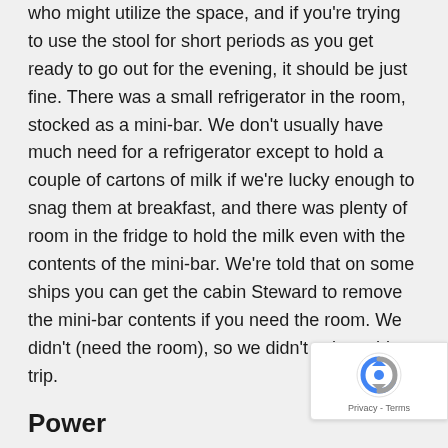who might utilize the space, and if you're trying to use the stool for short periods as you get ready to go out for the evening, it should be just fine. There was a small refrigerator in the room, stocked as a mini-bar. We don't usually have much need for a refrigerator except to hold a couple of cartons of milk if we're lucky enough to snag them at breakfast, and there was plenty of room in the fridge to hold the milk even with the contents of the mini-bar. We're told that on some ships you can get the cabin Steward to remove the mini-bar contents if you need the room. We didn't (need the room), so we didn't ask on this trip.
Power
Let's talk a bit more about power. As we mentioned before, there were four plugs in the room at the desk. There were no plugs at the bed near the nightstands, which is actually the norm aboard a cruise ship. The reason for no plugs at the bed most likely because the bed is capable of different